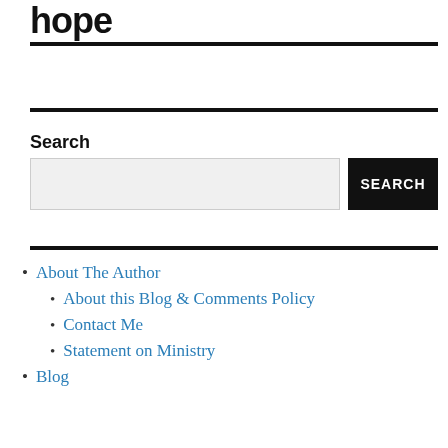hope
Search
[Figure (other): Search input box with SEARCH button]
About The Author
About this Blog & Comments Policy
Contact Me
Statement on Ministry
Blog